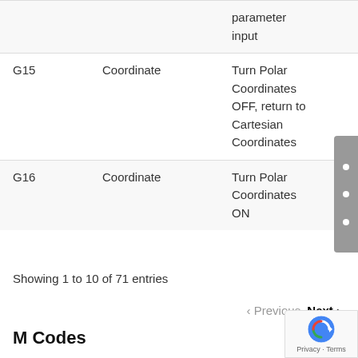| Code | Type | Description |
| --- | --- | --- |
|  |  | parameter input |
| G15 | Coordinate | Turn Polar Coordinates OFF, return to Cartesian Coordinates |
| G16 | Coordinate | Turn Polar Coordinates ON |
Showing 1 to 10 of 71 entries
‹ Previous  Next ›
M Codes